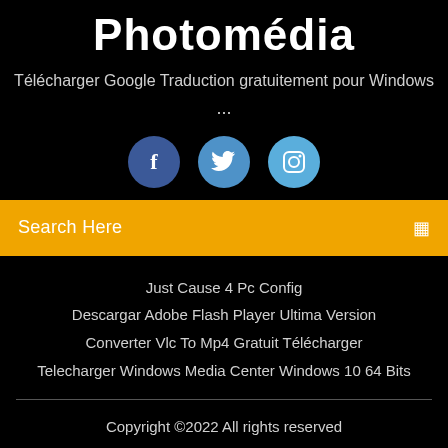Photomédia
Télécharger Google Traduction gratuitement pour Windows ...
[Figure (illustration): Three social media icon circles: Facebook (dark blue), Twitter (medium blue), Instagram (light blue)]
Search Here
Just Cause 4 Pc Config
Descargar Adobe Flash Player Ultima Version
Converter Vlc To Mp4 Gratuit Télécharger
Telecharger Windows Media Center Windows 10 64 Bits
Copyright ©2022 All rights reserved